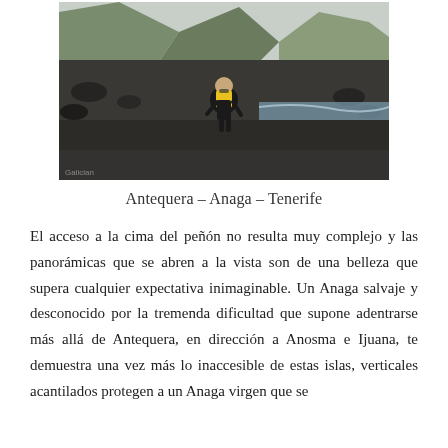[Figure (photo): A person with a yellow backpack standing on a dark volcanic rocky beach with cliffs and ocean in the background, Anaga, Tenerife]
Antequera – Anaga – Tenerife
El acceso a la cima del peñón no resulta muy complejo y las panorámicas que se abren a la vista son de una belleza que supera cualquier expectativa inimaginable. Un Anaga salvaje y desconocido por la tremenda dificultad que supone adentrarse más allá de Antequera, en dirección a Anosma e Ijuana, te demuestra una vez más lo inaccesible de estas islas, verticales acantilados protegen a un Anaga virgen que se